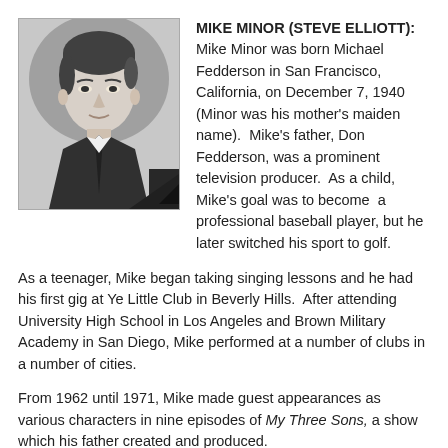[Figure (photo): Black and white headshot photograph of Mike Minor, a young man in a suit and tie, looking directly at the camera.]
MIKE MINOR (STEVE ELLIOTT): Mike Minor was born Michael Fedderson in San Francisco, California, on December 7, 1940 (Minor was his mother's maiden name).  Mike's father, Don Fedderson, was a prominent television producer.  As a child, Mike's goal was to become  a professional baseball player, but he later switched his sport to golf.
As a teenager, Mike began taking singing lessons and he had his first gig at Ye Little Club in Beverly Hills.  After attending University High School in Los Angeles and Brown Military Academy in San Diego, Mike performed at a number of clubs in a number of cities.
From 1962 until 1971, Mike made guest appearances as various characters in nine episodes of My Three Sons, a show which his father created and produced.